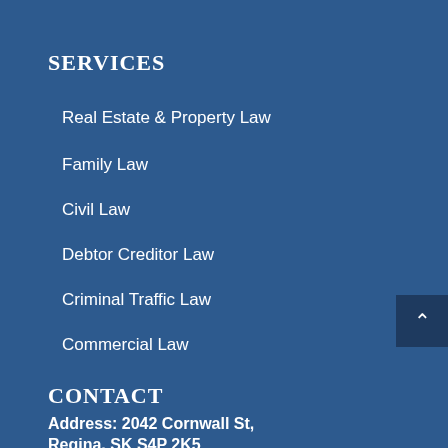SERVICES
Real Estate & Property Law
Family Law
Civil Law
Debtor Creditor Law
Criminal Traffic Law
Commercial Law
CONTACT
Address: 2042 Cornwall St,
Regina, SK S4P 2K5